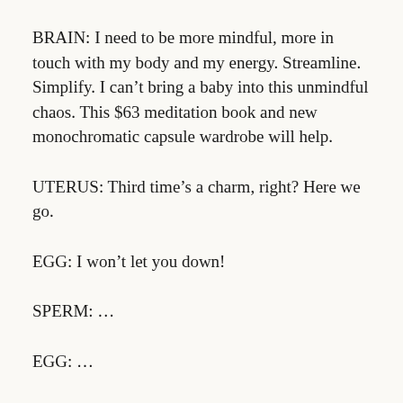BRAIN: I need to be more mindful, more in touch with my body and my energy. Streamline. Simplify. I can't bring a baby into this unmindful chaos. This $63 meditation book and new monochromatic capsule wardrobe will help.
UTERUS: Third time's a charm, right? Here we go.
EGG: I won't let you down!
SPERM: ...
EGG: ...